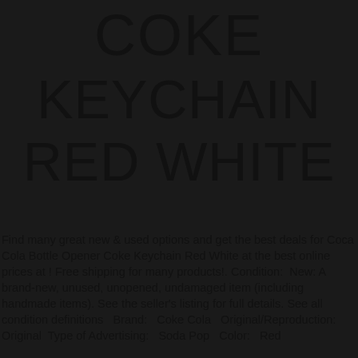COKE KEYCHAIN RED WHITE
Find many great new & used options and get the best deals for Coca Cola Bottle Opener Coke Keychain Red White at the best online prices at ! Free shipping for many products!. Condition:  New: A brand-new, unused, unopened, undamaged item (including handmade items). See the seller’s listing for full details. See all condition definitions   Brand:   Coke Cola   Original/Reproduction:   Original  Type of Advertising:   Soda Pop   Color:   Red